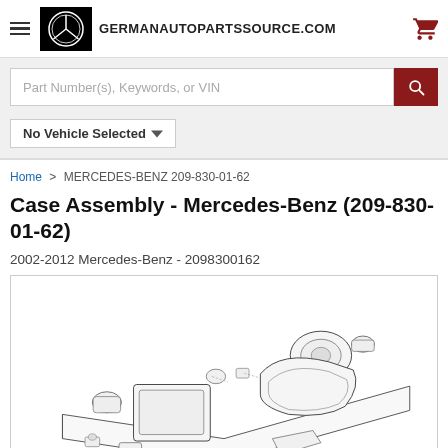GERMANAUTOPARTSSOURCE.COM
Part Number(s), Keywords, or VIN
No Vehicle Selected
Home > MERCEDES-BENZ 209-830-01-62
Case Assembly - Mercedes-Benz (209-830-01-62)
2002-2012 Mercedes-Benz - 2098300162
[Figure (illustration): Exploded/isometric line drawing of Mercedes-Benz Case Assembly part 209-830-01-62, showing HVAC housing components including blower motor, housing case, actuators and related parts.]